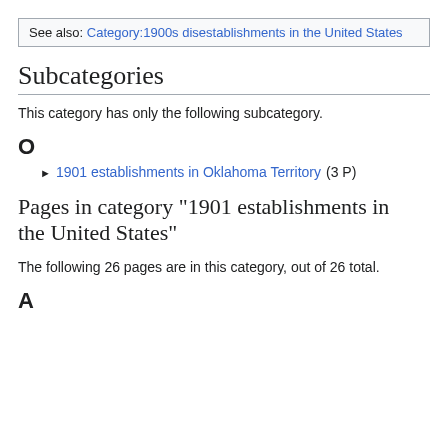See also: Category:1900s disestablishments in the United States
Subcategories
This category has only the following subcategory.
O
▶ 1901 establishments in Oklahoma Territory (3 P)
Pages in category "1901 establishments in the United States"
The following 26 pages are in this category, out of 26 total.
A